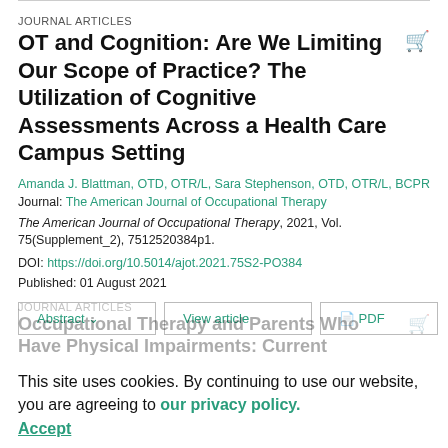JOURNAL ARTICLES
OT and Cognition: Are We Limiting Our Scope of Practice? The Utilization of Cognitive Assessments Across a Health Care Campus Setting
Amanda J. Blattman, OTD, OTR/L, Sara Stephenson, OTD, OTR/L, BCPR
Journal: The American Journal of Occupational Therapy
The American Journal of Occupational Therapy, 2021, Vol. 75(Supplement_2), 7512520384p1.
DOI: https://doi.org/10.5014/ajot.2021.75S2-PO384
Published: 01 August 2021
This site uses cookies. By continuing to use our website, you are agreeing to our privacy policy. Accept